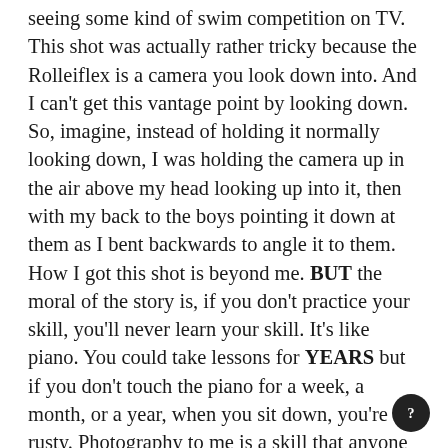seeing some kind of swim competition on TV. This shot was actually rather tricky because the Rolleiflex is a camera you look down into. And I can't get this vantage point by looking down. So, imagine, instead of holding it normally looking down, I was holding the camera up in the air above my head looking up into it, then with my back to the boys pointing it down at them as I bent backwards to angle it to them. How I got this shot is beyond me. BUT the moral of the story is, if you don't practice your skill, you'll never learn your skill. It's like piano. You could take lessons for YEARS but if you don't touch the piano for a week, a month, or a year, when you sit down, you're rusty. Photography to me is a skill that anyone can learn if they just put the time into it.